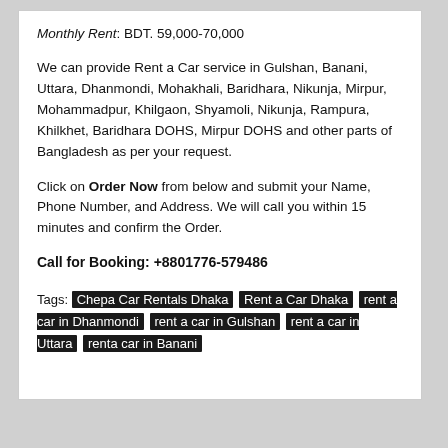Monthly Rent: BDT. 59,000-70,000
We can provide Rent a Car service in Gulshan, Banani, Uttara, Dhanmondi, Mohakhali, Baridhara, Nikunja, Mirpur, Mohammadpur, Khilgaon, Shyamoli, Nikunja, Rampura, Khilkhet, Baridhara DOHS, Mirpur DOHS and other parts of Bangladesh as per your request.
Click on Order Now from below and submit your Name, Phone Number, and Address. We will call you within 15 minutes and confirm the Order.
Call for Booking: +8801776-579486
Tags: Chepa Car Rentals Dhaka | Rent a Car Dhaka | rent a car in Dhanmondi | rent a car in Gulshan | rent a car in Uttara | renta car in Banani